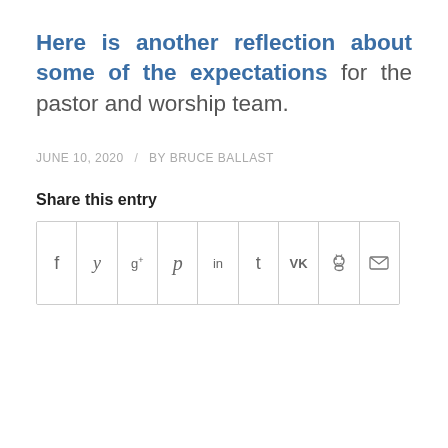Here is another reflection about some of the expectations for the pastor and worship team.
JUNE 10, 2020 / BY BRUCE BALLAST
Share this entry
[Figure (other): Social sharing icons row with 9 cells: Facebook (f), Twitter (bird/y), Google+ (g+), Pinterest (p), LinkedIn (in), Tumblr (t), VK (VK), Reddit (alien), Email (envelope)]